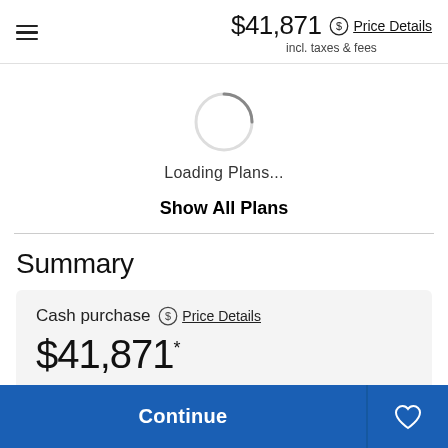$41,871 incl. taxes & fees  Price Details
[Figure (other): Circular loading spinner animation]
Loading Plans...
Show All Plans
Summary
Cash purchase  Price Details
$41,871 *
Continue